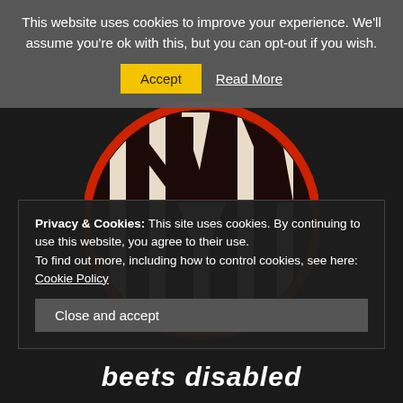This website uses cookies to improve your experience. We'll assume you're ok with this, but you can opt-out if you wish.
Accept | Read More
[Figure (logo): Circular logo with red border on dark background featuring black and white vertical stripes forming an M shape]
Privacy & Cookies: This site uses cookies. By continuing to use this website, you agree to their use.
To find out more, including how to control cookies, see here: Cookie Policy
Close and accept
beets disabled